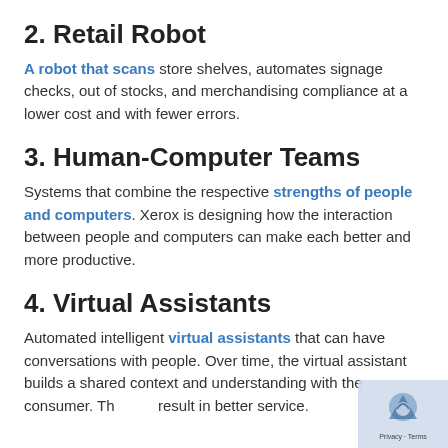2. Retail Robot
A robot that scans store shelves, automates signage checks, out of stocks, and merchandising compliance at a lower cost and with fewer errors.
3. Human-Computer Teams
Systems that combine the respective strengths of people and computers. Xerox is designing how the interaction between people and computers can make each better and more productive.
4. Virtual Assistants
Automated intelligent virtual assistants that can have conversations with people. Over time, the virtual assistant builds a shared context and understanding with the consumer. This can result in better service.